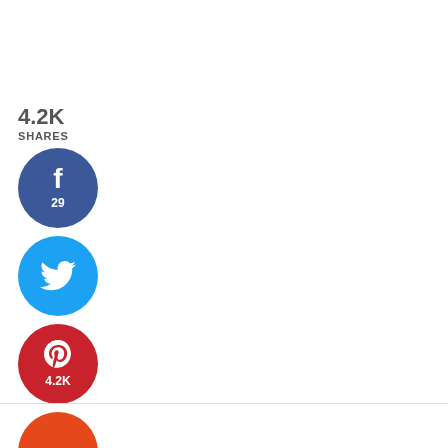4.2K SHARES
[Figure (infographic): Social media share buttons: Facebook (29), Twitter, Pinterest (4.2K), Yummly]